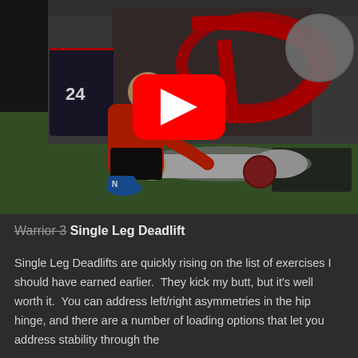[Figure (screenshot): YouTube video thumbnail showing two people in a gym. A man in a red shirt is kneeling over another person lying on a green turf floor holding a medicine ball. A large red YouTube play button is overlaid in the center. Background shows gym equipment including a jersey with number 24, exercise mats, and a stability ball.]
Warrior 3 Single Leg Deadlift
Single Leg Deadlifts are quickly rising on the list of exercises I should have earned earlier.  They kick my butt, but it's well worth it.  You can address left/right asymmetries in the hip hinge, and there are a number of loading options that let you address stability through the